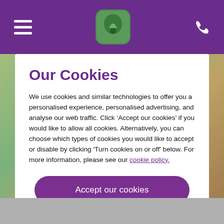[Figure (screenshot): Purple website navigation header bar with hamburger menu icon on left, green rounded logo in center, and phone icon on right]
Our Cookies
We use cookies and similar technologies to offer you a personalised experience, personalised advertising, and analyse our web traffic. Click ‘Accept our cookies’ if you would like to allow all cookies. Alternatively, you can choose which types of cookies you would like to accept or disable by clicking ‘Turn cookies on or off’ below. For more information, please see our cookie policy.
Accept our cookies